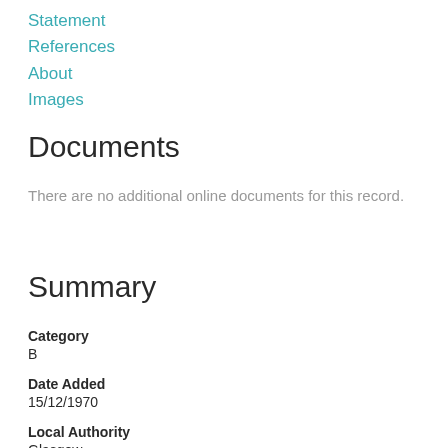Statement
References
About
Images
Documents
There are no additional online documents for this record.
Summary
Category
B
Date Added
15/12/1970
Local Authority
Glasgow